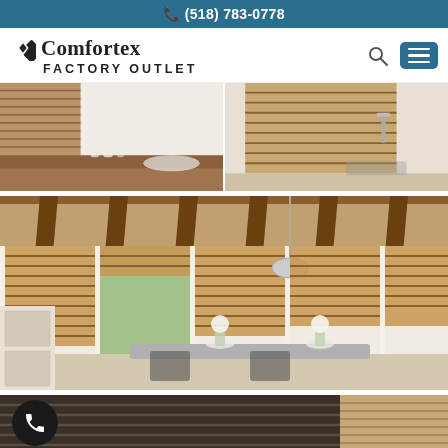(518) 783-0778
[Figure (logo): Comfortex Factory Outlet logo with diamond icon]
[Figure (photo): Two side-by-side photos of rooms with wooden blinds on windows - left shows bathroom counter, right shows kitchen sink]
[Figure (photo): Large dining room with wooden ceiling beams and wooden venetian blinds on floor-to-ceiling windows, dining table with flower vases]
[Figure (photo): Partial bottom image showing dark wooden blinds with a phone icon circle overlay on left]